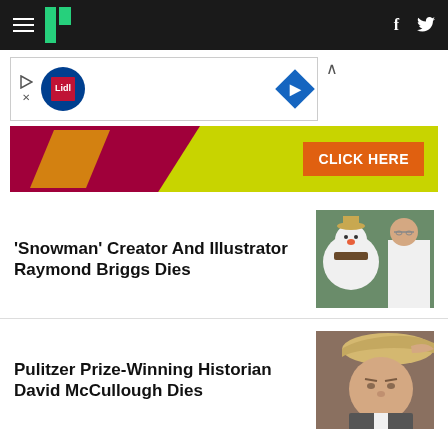HuffPost navigation bar with hamburger menu, logo, Facebook and Twitter icons
[Figure (screenshot): Lidl advertisement banner with play button, Lidl logo, and navigation diamond arrow]
[Figure (illustration): Yellow and red advertisement banner with CLICK HERE orange button]
'Snowman' Creator And Illustrator Raymond Briggs Dies
[Figure (photo): Photo of Raymond Briggs with a snowman costume character]
Pulitzer Prize-Winning Historian David McCullough Dies
[Figure (photo): Photo of David McCullough tipping a cowboy hat]